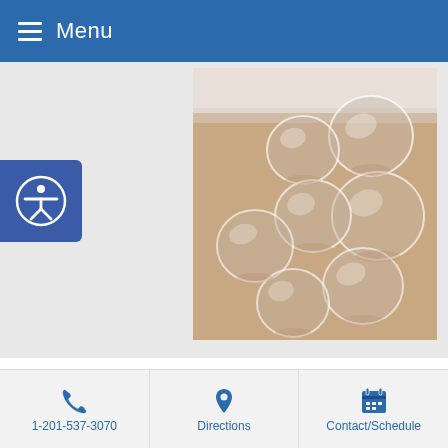Menu
[Figure (photo): Cupping therapy photo showing multiple clear glass cups placed on a person's back/skin for treatment]
Most people know that one way to feel better is with acupuncture needles. You go to your acupuncturist feeling bad. I put in a few needles. You leave feeling lighter.
1-201-537-3070  Directions  Contact/Schedule